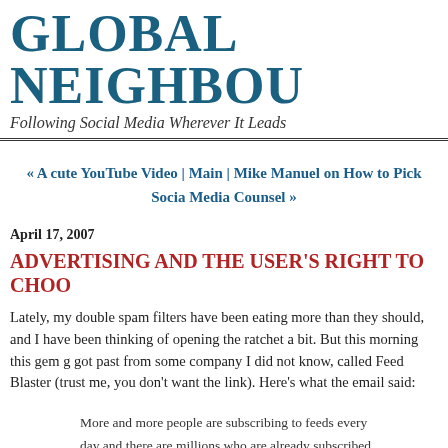GLOBAL NEIGHBOU
Following Social Media Wherever It Leads
« A cute YouTube Video | Main | Mike Manuel on How to Pick Social Media Counsel »
April 17, 2007
ADVERTISING AND THE USER'S RIGHT TO CHOO
Lately, my double spam filters have been eating more than they should, and I have been thinking of opening the ratchet a bit. But this morning this gem got past from some company I did not know, called Feed Blaster (trust me, you don't want the link). Here's what the email said:
More and more people are subscribing to feeds every day and there are millions who are already subscribed.
Thus, your ad will reach a very broad range of potential customers with each use of